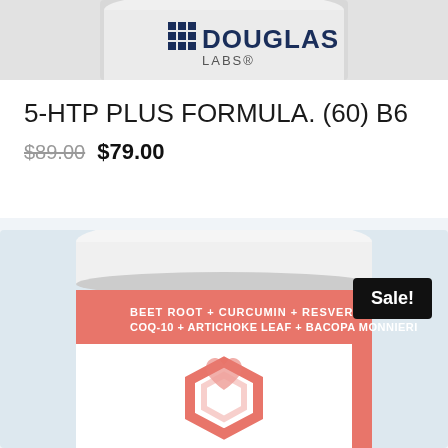[Figure (photo): Douglas Labs product bottle top view showing DOUGLAS logo with grid icon, white bottle cap visible]
5-HTP PLUS FORMULA. (60) B6
$89.00 $79.00
[Figure (photo): Supplement container with white lid and salmon/coral colored label showing BEET ROOT + CURCUMIN + RESVERATROL, COQ-10 + ARTICHOKE LEAF + BACOPA MONNIERI, heart/hexagon logo, WATERME... text on side. Sale! badge in black top right.]